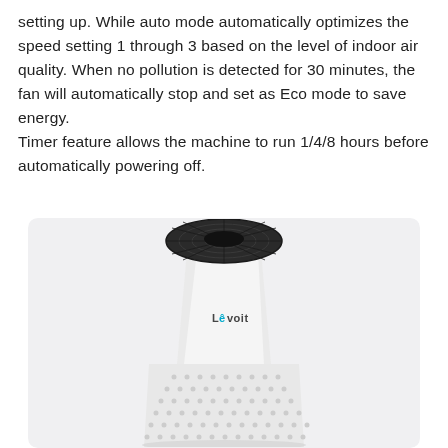setting up. While auto mode automatically optimizes the speed setting 1 through 3 based on the level of indoor air quality. When no pollution is detected for 30 minutes, the fan will automatically stop and set as Eco mode to save energy.
Timer feature allows the machine to run 1/4/8 hours before automatically powering off.
[Figure (photo): Levoit air purifier — white conical tower unit with dark mesh top intake, perforated lower body, and Levoit branding on the front, shown against a light grey background.]